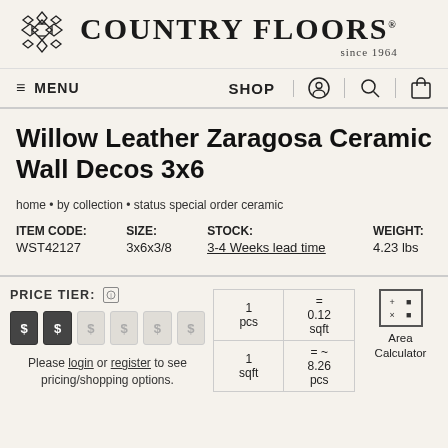[Figure (logo): Country Floors logo with geometric tile pattern icon and text 'COUNTRY FLOORS since 1964']
≡ MENU   SHOP   [account icon]   [search icon]   [cart icon]
Willow Leather Zaragosa Ceramic Wall Decos 3x6
home • by collection • status special order ceramic
| ITEM CODE: | SIZE: | STOCK: | WEIGHT: |
| --- | --- | --- | --- |
| WST42127 | 3x6x3/8 | 3-4 Weeks lead time | 4.23 lbs |
PRICE TIER:
$ $ $ $ $ $
Please login or register to see pricing/shopping options.
| qty | = | sqft |
| --- | --- | --- |
| 1 pcs | 0.12 sqft |  |
| 1 sqft | = ~
8.26 pcs |  |
Area Calculator